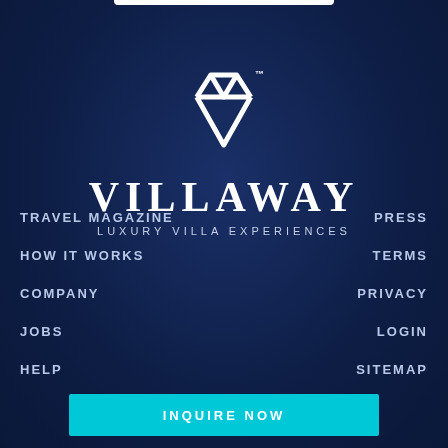[Figure (logo): Villaway diamond logo icon — white geometric diamond shape outline]
VILLAWAY
LUXURY VILLA EXPERIENCES
TRAVEL MAGAZINE
PRESS
HOW IT WORKS
TERMS
COMPANY
PRIVACY
JOBS
LOGIN
HELP
SITEMAP
INQUIRE NOW